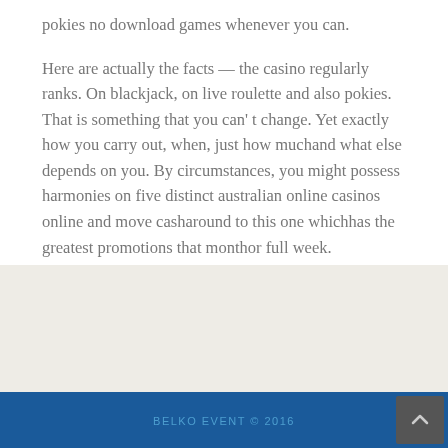pokies no download games whenever you can.
Here are actually the facts — the casino regularly ranks. On blackjack, on live roulette and also pokies. That is something that you can' t change. Yet exactly how you carry out, when, just how muchand what else depends on you. By circumstances, you might possess harmonies on five distinct australian online casinos online and move casharound to this one whichhas the greatest promotions that monthor full week.
BELKO EVENT © 2016